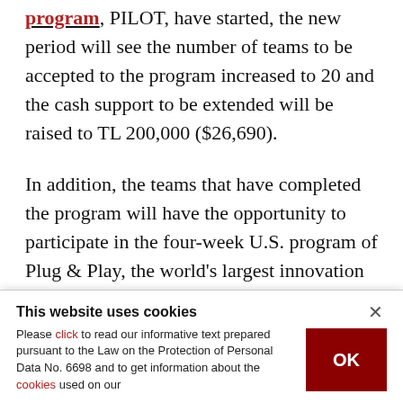program, PILOT, have started, the new period will see the number of teams to be accepted to the program increased to 20 and the cash support to be extended will be raised to TL 200,000 ($26,690).

In addition, the teams that have completed the program will have the opportunity to participate in the four-week U.S. program of Plug & Play, the world's largest innovation platform.

Applications for the ninth term at PILOT, which
This website uses cookies

Please click to read our informative text prepared pursuant to the Law on the Protection of Personal Data No. 6698 and to get information about the cookies used on our